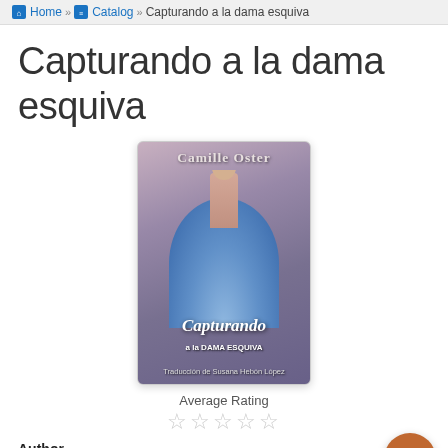Home » Catalog » Capturando a la dama esquiva
Capturando a la dama esquiva
[Figure (illustration): Book cover for 'Capturando a la dama esquiva' by Camille Oster. Shows a woman in a blue ball gown, viewed from behind, with text 'Capturando a la Dama Esquiva' and 'Traducción de Susana Hebón López']
Average Rating
☆☆☆☆☆ (empty star rating)
Author
Oster, Camille
Publisher